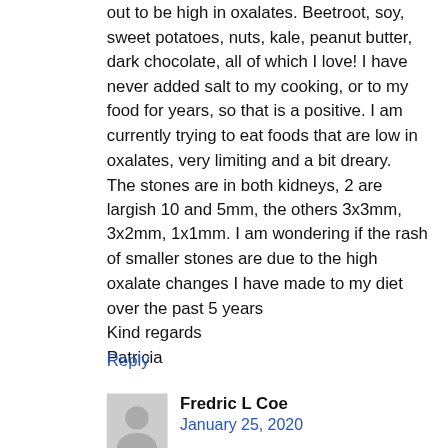out to be high in oxalates. Beetroot, soy, sweet potatoes, nuts, kale, peanut butter, dark chocolate, all of which I love! I have never added salt to my cooking, or to my food for years, so that is a positive. I am currently trying to eat foods that are low in oxalates, very limiting and a bit dreary. The stones are in both kidneys, 2 are largish 10 and 5mm, the others 3x3mm, 3x2mm, 1x1mm. I am wondering if the rash of smaller stones are due to the high oxalate changes I have made to my diet over the past 5 years Kind regards Patricia
Reply
Fredric L Coe
January 25, 2020